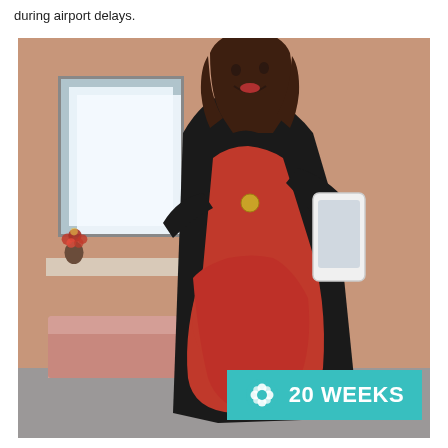during airport delays.
[Figure (photo): A pregnant woman in a red dress and black cardigan taking a mirror selfie with a white smartphone. She is smiling and looking upward. The setting appears to be a waiting room with a pink couch, a window, and flowers on a counter. A teal banner in the bottom right reads '20 WEEKS' with a flower icon.]